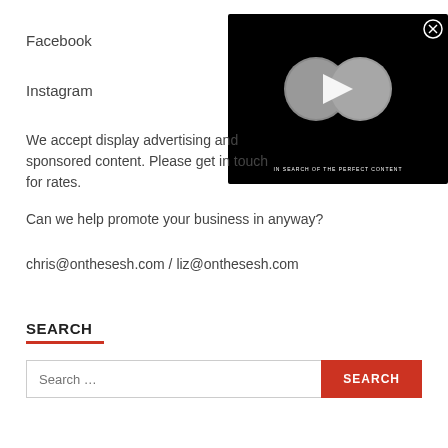Facebook
Instagram
[Figure (screenshot): Black video player overlay with a play button in the center, two circular thumbnail images side by side, a close (X) button in the top right, and text 'IN SEARCH OF THE PERFECT CONTENT' at the bottom]
We accept display advertising and sponsored content. Please get in touch for rates.
Can we help promote your business in anyway?
chris@onthesesh.com / liz@onthesesh.com
SEARCH